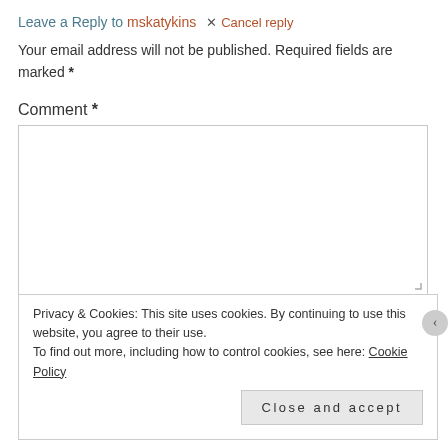Leave a Reply to mskatykins  ✕ Cancel reply
Your email address will not be published. Required fields are marked *
Comment *
Privacy & Cookies: This site uses cookies. By continuing to use this website, you agree to their use.
To find out more, including how to control cookies, see here: Cookie Policy
Close and accept